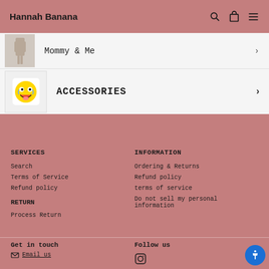Hannah Banana
Mommy & Me
ACCESSORIES
SERVICES
Search
Terms of Service
Refund policy
RETURN
Process Return
INFORMATION
Ordering & Returns
Refund policy
terms of service
Do not sell my personal information
Get in touch
Email us
Follow us